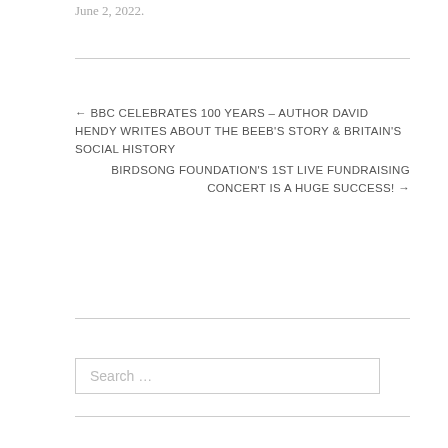June 2, 2022.
← BBC CELEBRATES 100 YEARS – AUTHOR DAVID HENDY WRITES ABOUT THE BEEB'S STORY & BRITAIN'S SOCIAL HISTORY
BIRDSONG FOUNDATION'S 1ST LIVE FUNDRAISING CONCERT IS A HUGE SUCCESS! →
Search …